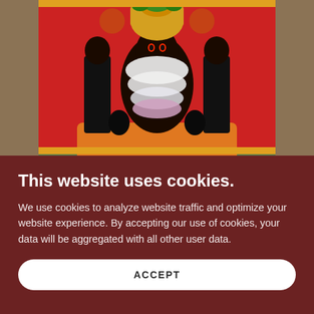[Figure (photo): Hindu temple deity idol adorned with floral garlands, colorful decorations and traditional ornaments against a red backdrop with smaller deity figures on sides]
This website uses cookies.
We use cookies to analyze website traffic and optimize your website experience. By accepting our use of cookies, your data will be aggregated with all other user data.
ACCEPT